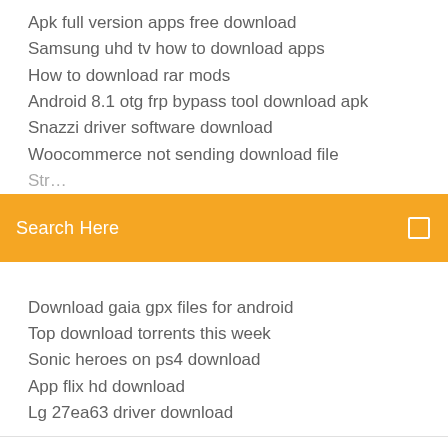Apk full version apps free download
Samsung uhd tv how to download apps
How to download rar mods
Android 8.1 otg frp bypass tool download apk
Snazzi driver software download
Woocommerce not sending download file
[Figure (screenshot): Orange search bar with 'Search Here' placeholder text and a small square icon on the right]
Download gaia gpx files for android
Top download torrents this week
Sonic heroes on ps4 download
App flix hd download
Lg 27ea63 driver download
Standard Ebooks is a volunteer driven, not-for-profit project that produces new editions of public domain ebooks that are lovingly formatted, open source, and free. Ebook projects like